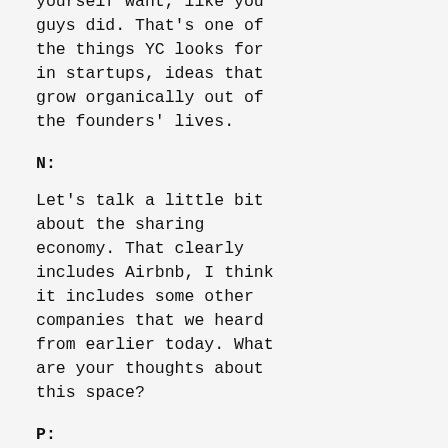yourself want, like you guys did. That's one of the things YC looks for in startups, ideas that grow organically out of the founders' lives.
N:
Let's talk a little bit about the sharing economy. That clearly includes Airbnb, I think it includes some other companies that we heard from earlier today. What are your thoughts about this space?
P:
There's definitely something real there. I think I tweeted about this, that people may one